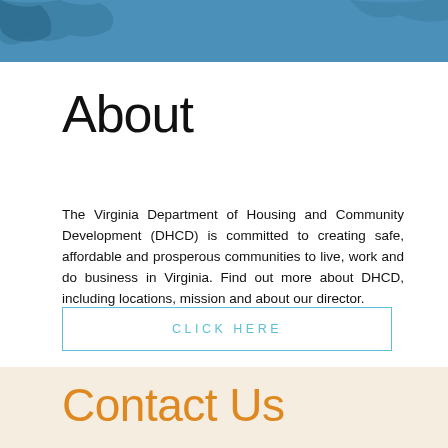[Figure (illustration): Blue header banner with decorative map/geographic shapes in darker blue tones at top of page]
About
The Virginia Department of Housing and Community Development (DHCD) is committed to creating safe, affordable and prosperous communities to live, work and do business in Virginia. Find out more about DHCD, including locations, mission and about our director.
CLICK HERE
Contact Us